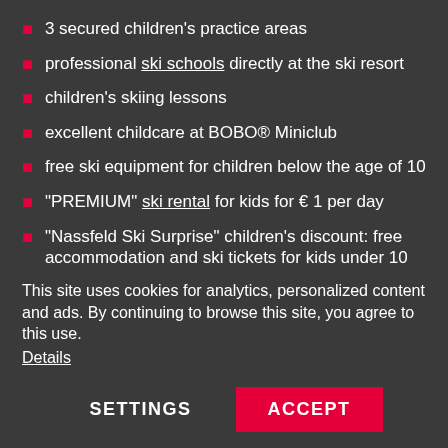3 secured children's practice areas
professional ski schools directly at the ski resort
children's skiing lessons
excellent childcare at BOBO® Miniclub
free ski equipment for children below the age of 10
"PREMIUM" ski rental for kids for € 1 per day
"Nassfeld Ski Surprise" children's discount: free accommodation and ski tickets for kids under 10
This site uses cookies for analytics, personalized content and ads. By continuing to browse this site, you agree to this use.
Details
SETTINGS
ACCEPT